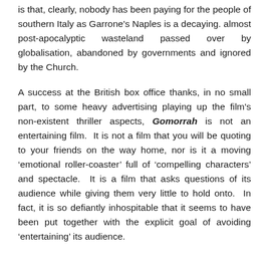is that, clearly, nobody has been paying for the people of southern Italy as Garrone's Naples is a decaying. almost post-apocalyptic wasteland passed over by globalisation, abandoned by governments and ignored by the Church.
A success at the British box office thanks, in no small part, to some heavy advertising playing up the film's non-existent thriller aspects, Gomorrah is not an entertaining film. It is not a film that you will be quoting to your friends on the way home, nor is it a moving 'emotional roller-coaster' full of 'compelling characters' and spectacle. It is a film that asks questions of its audience while giving them very little to hold onto. In fact, it is so defiantly inhospitable that it seems to have been put together with the explicit goal of avoiding 'entertaining' its audience.